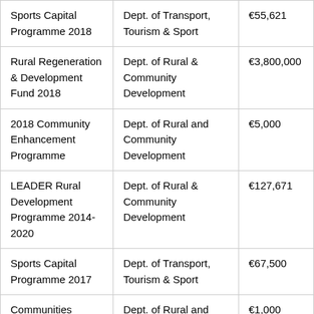| Sports Capital Programme 2018 | Dept. of Transport, Tourism & Sport | €55,621 |
| Rural Regeneration & Development Fund 2018 | Dept. of Rural & Community Development | €3,800,000 |
| 2018 Community Enhancement Programme | Dept. of Rural and Community Development | €5,000 |
| LEADER Rural Development Programme 2014-2020 | Dept. of Rural & Community Development | €127,671 |
| Sports Capital Programme 2017 | Dept. of Transport, Tourism & Sport | €67,500 |
| Communities | Dept. of Rural and | €1,000 |